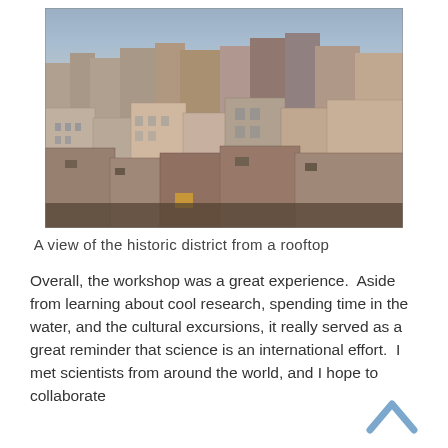[Figure (photo): Aerial rooftop view of a dense historic urban district with many multi-story buildings packed closely together under a hazy grey sky.]
A view of the historic district from a rooftop
Overall, the workshop was a great experience.  Aside from learning about cool research, spending time in the water, and the cultural excursions, it really served as a great reminder that science is an international effort.  I met scientists from around the world, and I hope to collaborate